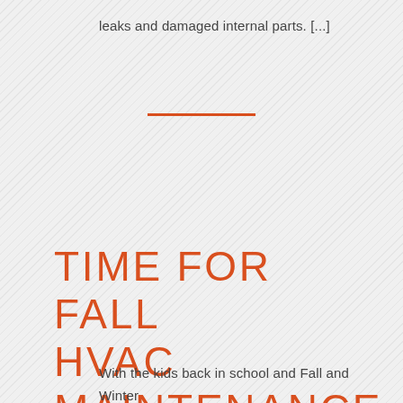leaks and damaged internal parts. [...]
TIME FOR FALL HVAC MAINTENANCE
With the kids back in school and Fall and Winter holidays quickly approaching, now is the